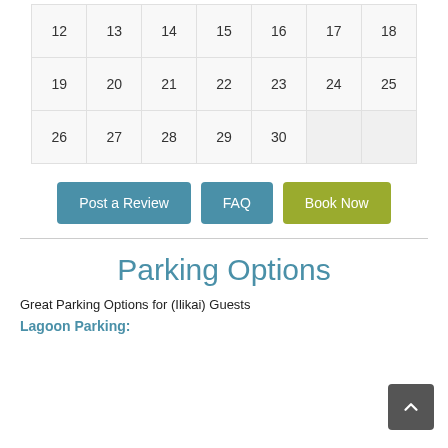| 12 | 13 | 14 | 15 | 16 | 17 | 18 |
| 19 | 20 | 21 | 22 | 23 | 24 | 25 |
| 26 | 27 | 28 | 29 | 30 |  |  |
Post a Review | FAQ | Book Now
Parking Options
Great Parking Options for (Ilikai) Guests
Lagoon Parking: